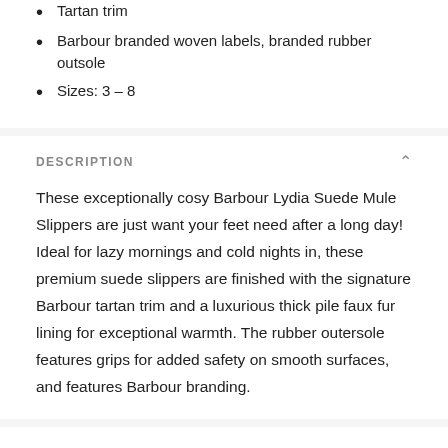Tartan trim
Barbour branded woven labels, branded rubber outsole
Sizes: 3 – 8
DESCRIPTION
These exceptionally cosy Barbour Lydia Suede Mule Slippers are just want your feet need after a long day! Ideal for lazy mornings and cold nights in, these premium suede slippers are finished with the signature Barbour tartan trim and a luxurious thick pile faux fur lining for exceptional warmth. The rubber outersole features grips for added safety on smooth surfaces, and features Barbour branding.
CARE